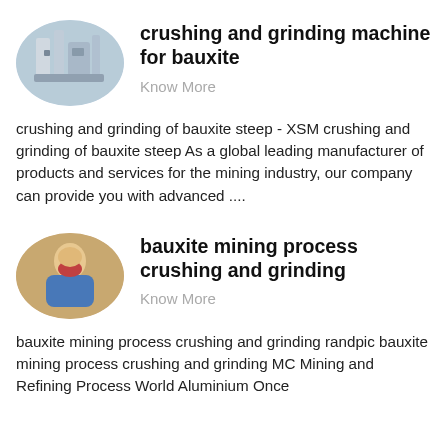[Figure (photo): Oval-shaped photo of industrial crushing/grinding machinery in a facility]
crushing and grinding machine for bauxite
Know More
crushing and grinding of bauxite steep - XSM crushing and grinding of bauxite steep As a global leading manufacturer of products and services for the mining industry, our company can provide you with advanced ....
[Figure (photo): Oval-shaped photo of a person wearing a face covering and blue clothing]
bauxite mining process crushing and grinding
Know More
bauxite mining process crushing and grinding randpic bauxite mining process crushing and grinding MC Mining and Refining Process World Aluminium Once